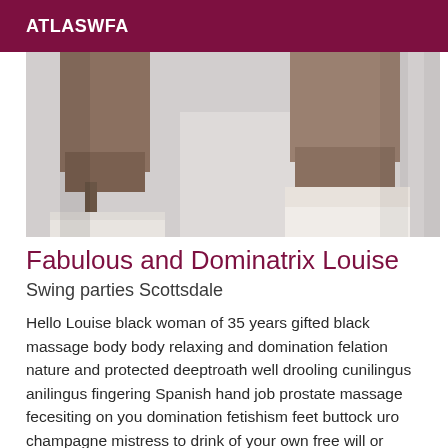ATLASWFA
[Figure (photo): Photo of two pairs of legs wearing high heels and platform shoes, one pair in dark/brown heels on the left, one pair in light/white platform heels on the right, on a white floor background.]
Fabulous and Dominatrix Louise
Swing parties Scottsdale
Hello Louise black woman of 35 years gifted black massage body body relaxing and domination felation nature and protected deeptroath well drooling cunilingus anilingus fingering Spanish hand job prostate massage fecesiting on you domination fetishism feet buttock uro champagne mistress to drink of your own free will or force according to your choice dilatation anal dildo I love